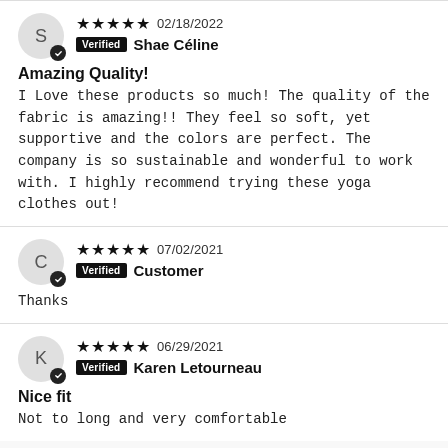★★★★★ 02/18/2022 | Verified Shae Céline
Amazing Quality!
I Love these products so much! The quality of the fabric is amazing!! They feel so soft, yet supportive and the colors are perfect. The company is so sustainable and wonderful to work with. I highly recommend trying these yoga clothes out!
★★★★★ 07/02/2021 | Verified Customer
Thanks
★★★★★ 06/29/2021 | Verified Karen Letourneau
Nice fit
Not to long and very comfortable